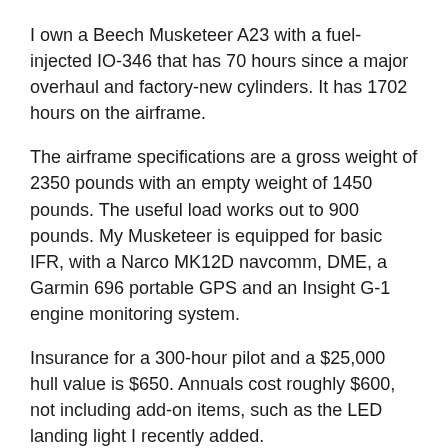I own a Beech Musketeer A23 with a fuel-injected IO-346 that has 70 hours since a major overhaul and factory-new cylinders. It has 1702 hours on the airframe.
The airframe specifications are a gross weight of 2350 pounds with an empty weight of 1450 pounds. The useful load works out to 900 pounds. My Musketeer is equipped for basic IFR, with a Narco MK12D navcomm, DME, a Garmin 696 portable GPS and an Insight G-1 engine monitoring system.
Insurance for a 300-hour pilot and a $25,000 hull value is $650. Annuals cost roughly $600, not including add-on items, such as the LED landing light I recently added.
The airplane is big, bright, roomy, comfortable and solidly built, with excellent flying characteristics. Cruise speed at 2550 RPM is 120 to 125 MPH at about 8.5 to 9 GPH fuel bur…